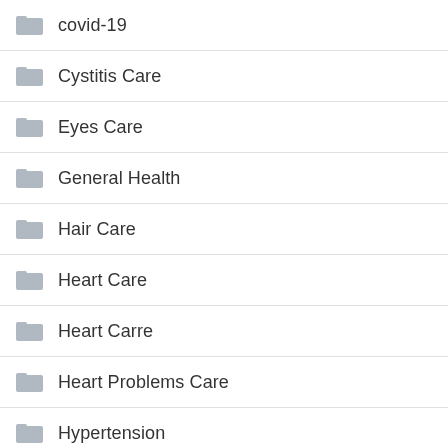covid-19
Cystitis Care
Eyes Care
General Health
Hair Care
Heart Care
Heart Carre
Heart Problems Care
Hypertension
Joint Care
Male Enhancement